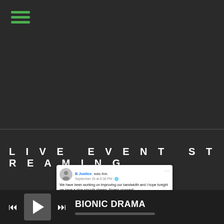[Figure (screenshot): Dark background top section with green hamburger menu icon in top-left corner]
LIVE EVENT STREAMING
[Figure (screenshot): Facebook post screenshot by B Justice (was live, September 26 at 8:38 PM) showing text 'We have been working on improving our bandwidth and i hope tonight we have a nice smooth stream. fingers crossed!' with video thumbnail of performer B. Justice on stage with bright stage lights]
BIONIC DRAMA